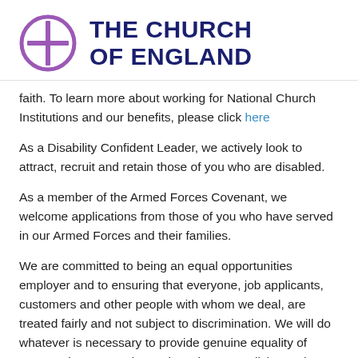[Figure (logo): The Church of England logo: purple circle with cross inside, next to bold navy text reading 'THE CHURCH OF ENGLAND']
faith. To learn more about working for National Church Institutions and our benefits, please click here
As a Disability Confident Leader, we actively look to attract, recruit and retain those of you who are disabled.
As a member of the Armed Forces Covenant, we welcome applications from those of you who have served in our Armed Forces and their families.
We are committed to being an equal opportunities employer and to ensuring that everyone, job applicants, customers and other people with whom we deal, are treated fairly and not subject to discrimination. We will do whatever is necessary to provide genuine equality of opportunity. We continuously review our policies and processes to support our aim to create a workforce as